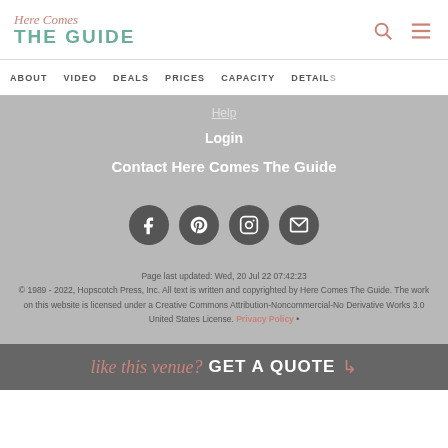Here Comes THE GUIDE
ABOUT  VIDEO  DEALS  PRICES  CAPACITY  DETAILS
Help
Login
Contact Here Comes The Guide
[Figure (infographic): Four social media icon circles: Facebook, Pinterest, Instagram, Email]
Page last updated: Wed, 20 Jul 22 07:42:23
© 1989 - 2022, Hopscotch Press, Inc. All text is written and copyrighted by Here Comes The Guide. The work on this website is licensed under a Creative Commons Attribution-Noncommercial-No Derivative Works 3.0 United States License.  Privacy Policy •
like this venue? GET A QUOTE